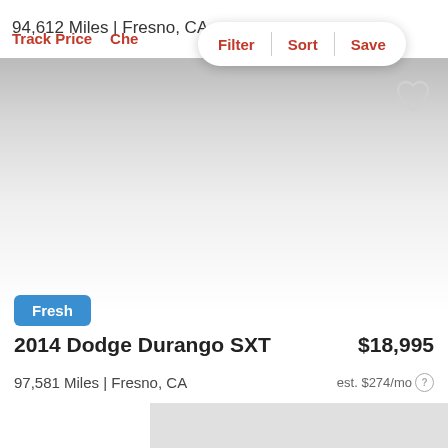94,612 Miles | Fresno, CA
Track Price  Che...
Filter  |  Sort  |  Save
[Figure (screenshot): Car listing image area with gray gradient background and heart/favorite icon in upper right]
Fresh
2014 Dodge Durango SXT
$18,995
97,581 Miles | Fresno, CA
est. $274/mo